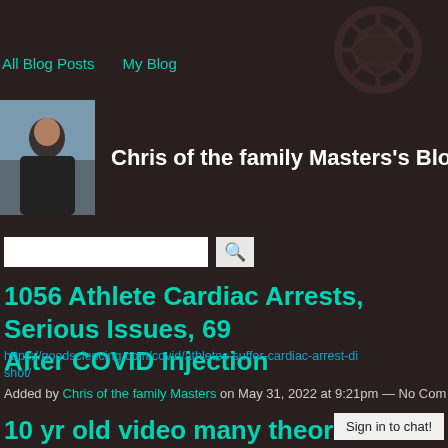All Blog Posts   My Blog
Chris of the family Masters's Blog – Ma
[Figure (photo): Profile photo of Chris of the family Masters, a person in dark clothing]
1056 Athlete Cardiac Arrests, Serious Issues, 69 After COVID Injection
https://goodsciencing.com/covid/athletes-suffer-cardiac-arrest-di shot/
Added by Chris of the family Masters on May 31, 2022 at 9:21pm — No Com
10 yr old video many theories
Sign in to chat!